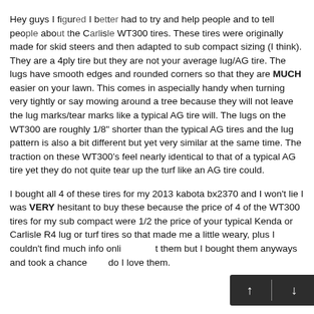Hey guys I figured I better had to try and help people and to tell people about the Carlisle WT300 tires. These tires were originally made for skid steers and then adapted to sub compact sizing (I think). They are a 4ply tire but they are not your average lug/AG tire. The lugs have smooth edges and rounded corners so that they are MUCH easier on your lawn. This comes in aspecially handy when turning very tightly or say mowing around a tree because they will not leave the lug marks/tear marks like a typical AG tire will. The lugs on the WT300 are roughly 1/8" shorter than the typical AG tires and the lug pattern is also a bit different but yet very similar at the same time. The traction on these WT300's feel nearly identical to that of a typical AG tire yet they do not quite tear up the turf like an AG tire could.
I bought all 4 of these tires for my 2013 kabota bx2370 and I won't lie I was VERY hesitant to buy these because the price of 4 of the WT300 tires for my sub compact were 1/2 the price of your typical Kenda or Carlisle R4 lug or turf tires so that made me a little weary, plus I couldn't find much info online about them but I bought them anyways and took a chance and do I love them.